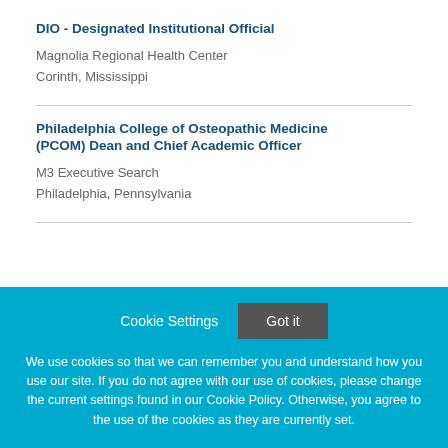DIO - Designated Institutional Official
Magnolia Regional Health Center
Corinth, Mississippi
Philadelphia College of Osteopathic Medicine (PCOM) Dean and Chief Academic Officer
M3 Executive Search
Philadelphia, Pennsylvania
Cookie Settings
Got it
We use cookies so that we can remember you and understand how you use our site. If you do not agree with our use of cookies, please change the current settings found in our Cookie Policy. Otherwise, you agree to the use of the cookies as they are currently set.